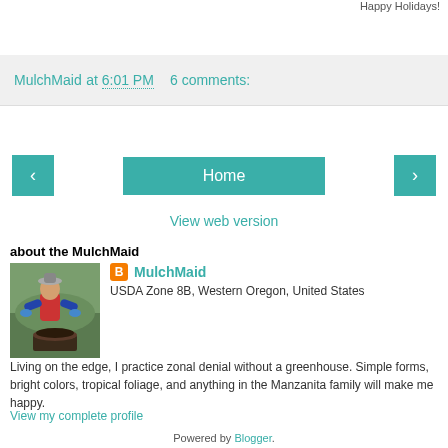Happy Holidays!
MulchMaid at 6:01 PM   6 comments:
[Figure (other): Navigation row with back arrow button, Home button, and forward arrow button in teal/green color]
View web version
about the MulchMaid
[Figure (photo): Person gardening, bending over a large pot with soil outdoors]
MulchMaid
USDA Zone 8B, Western Oregon, United States
Living on the edge, I practice zonal denial without a greenhouse. Simple forms, bright colors, tropical foliage, and anything in the Manzanita family will make me happy.
View my complete profile
Powered by Blogger.